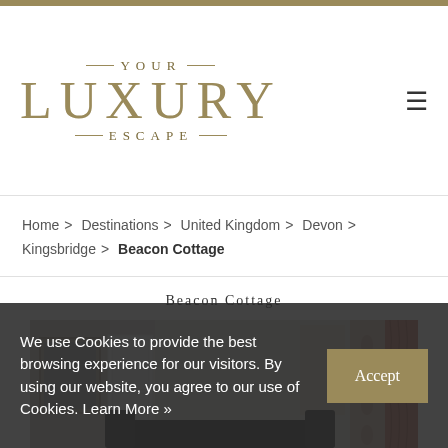[Figure (logo): Your Luxury Escape logo with decorative horizontal lines above and below, gold/khaki serif text]
Home > Destinations > United Kingdom > Devon > Kingsbridge > Beacon Cottage
Beacon Cottage
[Figure (photo): Interior photo of a room in Beacon Cottage showing pendant light, mirror, and salmon/terracotta curtains with floral wallpaper column]
We use Cookies to provide the best browsing experience for our visitors. By using our website, you agree to our use of Cookies. Learn More »